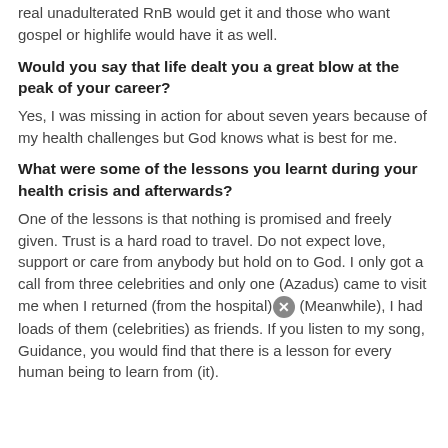real unadulterated RnB would get it and those who want gospel or highlife would have it as well.
Would you say that life dealt you a great blow at the peak of your career?
Yes, I was missing in action for about seven years because of my health challenges but God knows what is best for me.
What were some of the lessons you learnt during your health crisis and afterwards?
One of the lessons is that nothing is promised and freely given. Trust is a hard road to travel. Do not expect love, support or care from anybody but hold on to God. I only got a call from three celebrities and only one (Azadus) came to visit me when I returned (from the hospital) (Meanwhile), I had loads of them (celebrities) as friends. If you listen to my song, Guidance, you would find that there is a lesson for every human being to learn from (it).